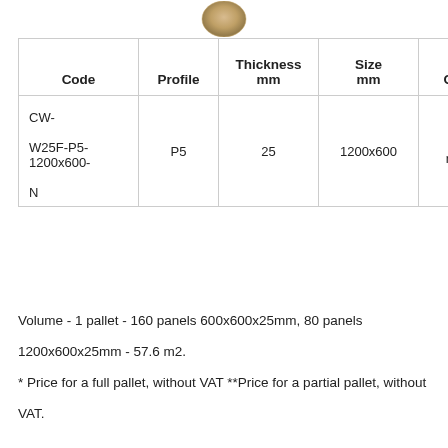[Figure (photo): Small circular photo of a textured natural material (wood wool or similar acoustic panel surface) at the top of the page]
| Code | Profile | Thickness mm | Size mm | Color |
| --- | --- | --- | --- | --- |
| CW-W25F-P5-1200x600-N | P5 | 25 | 1200x600 | N natu |
Volume - 1 pallet - 160 panels 600x600x25mm, 80 panels 1200x600x25mm - 57.6 m2.
* Price for a full pallet, without VAT **Price for a partial pallet, without VAT.